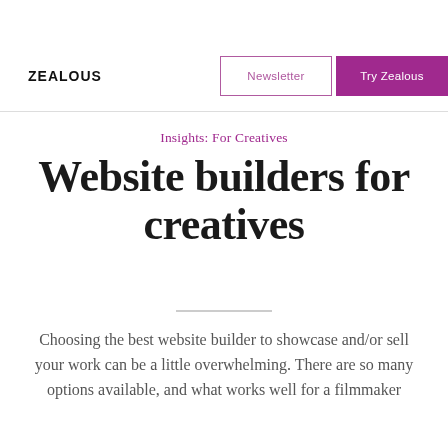ZEALOUS | Newsletter | Try Zealous
Insights: For Creatives
Website builders for creatives
Choosing the best website builder to showcase and/or sell your work can be a little overwhelming. There are so many options available, and what works well for a filmmaker